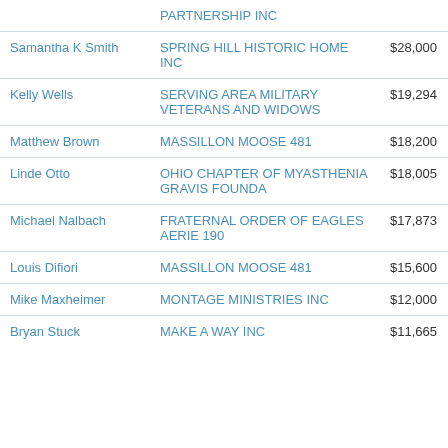| Name | Organization | Amount |
| --- | --- | --- |
|  | PARTNERSHIP INC |  |
| Samantha K Smith | SPRING HILL HISTORIC HOME INC | $28,000 |
| Kelly Wells | SERVING AREA MILITARY VETERANS AND WIDOWS | $19,294 |
| Matthew Brown | MASSILLON MOOSE 481 | $18,200 |
| Linde Otto | OHIO CHAPTER OF MYASTHENIA GRAVIS FOUNDA | $18,005 |
| Michael Nalbach | FRATERNAL ORDER OF EAGLES AERIE 190 | $17,873 |
| Louis Difiori | MASSILLON MOOSE 481 | $15,600 |
| Mike Maxheimer | MONTAGE MINISTRIES INC | $12,000 |
| Bryan Stuck | MAKE A WAY INC | $11,665 |